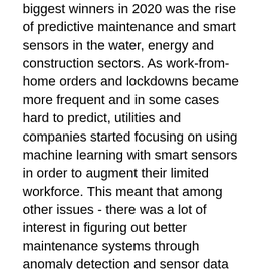biggest winners in 2020 was the rise of predictive maintenance and smart sensors in the water, energy and construction sectors. As work-from-home orders and lockdowns became more frequent and in some cases hard to predict, utilities and companies started focusing on using machine learning with smart sensors in order to augment their limited workforce. This meant that among other issues - there was a lot of interest in figuring out better maintenance systems through anomaly detection and sensor data that was stored on the cloud, understanding supply chains and predicting and managing potential disruptions from the pandemic, and in general moving towards targeted investments in data science and robotics that were likely to yield high returns in such uncertain times.
Probably the most interesting aspect was seeing the water sector break out in 2020. Water, of course, as a human